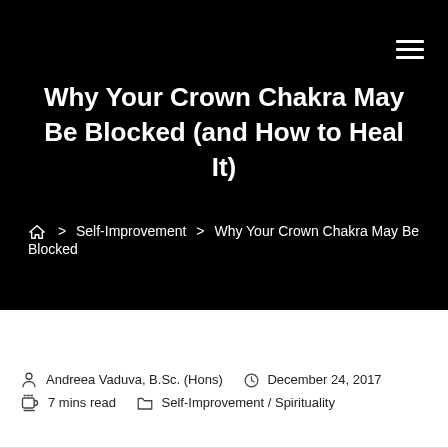☰
Why Your Crown Chakra May Be Blocked (and How to Heal It)
⌂ > Self-Improvement > Why Your Crown Chakra May Be Blocked
Andreea Vaduva, B.Sc. (Hons)  December 24, 2017  7 mins read  Self-Improvement / Spirituality